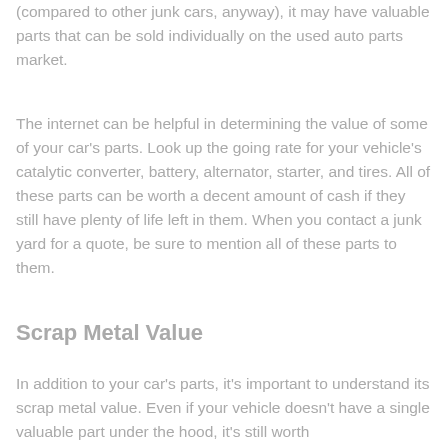(compared to other junk cars, anyway), it may have valuable parts that can be sold individually on the used auto parts market.
The internet can be helpful in determining the value of some of your car's parts. Look up the going rate for your vehicle's catalytic converter, battery, alternator, starter, and tires. All of these parts can be worth a decent amount of cash if they still have plenty of life left in them. When you contact a junk yard for a quote, be sure to mention all of these parts to them.
Scrap Metal Value
In addition to your car's parts, it's important to understand its scrap metal value. Even if your vehicle doesn't have a single valuable part under the hood, it's still worth